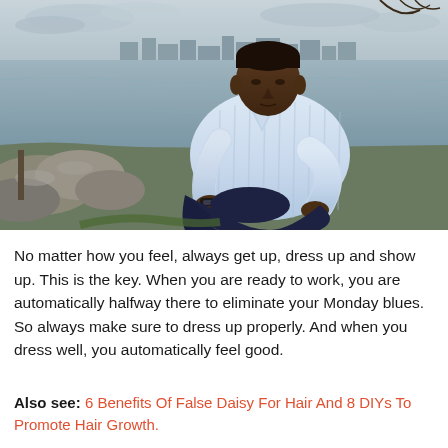[Figure (photo): A man in a light blue striped shirt and dark pants sits on rocks by a waterfront, looking down at his wrist/watch. City skyline visible in the background across the water under a cloudy sky.]
No matter how you feel, always get up, dress up and show up. This is the key. When you are ready to work, you are automatically halfway there to eliminate your Monday blues. So always make sure to dress up properly. And when you dress well, you automatically feel good.
Also see: 6 Benefits Of False Daisy For Hair And 8 DIYs To Promote Hair Growth.